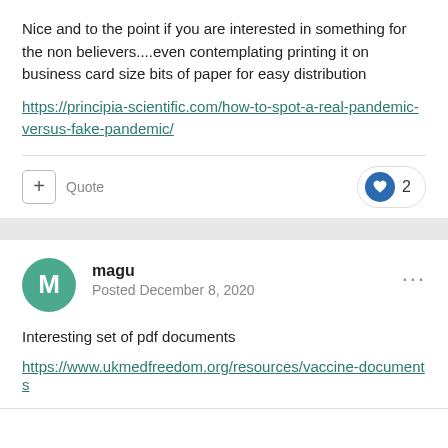Nice and to the point if you are interested in something for the non believers....even contemplating printing it on business card size bits of paper for easy distribution
https://principia-scientific.com/how-to-spot-a-real-pandemic-versus-fake-pandemic/
+ Quote   2
magu
Posted December 8, 2020
Interesting set of pdf documents
https://www.ukmedfreedom.org/resources/vaccine-documents